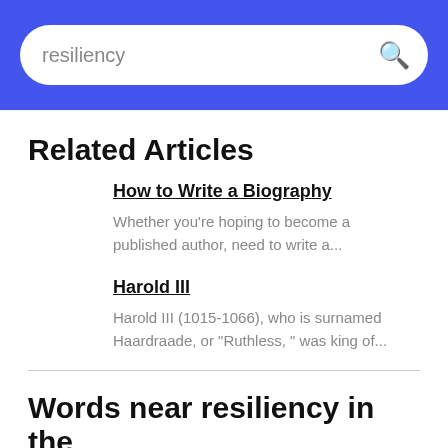resiliency
Related Articles
How to Write a Biography
Whether you're hoping to become a published author, need to write a...
Harold III
Harold III (1015-1066), who is surnamed Haardraade, or "Ruthless, " was king of...
Words near resiliency in the